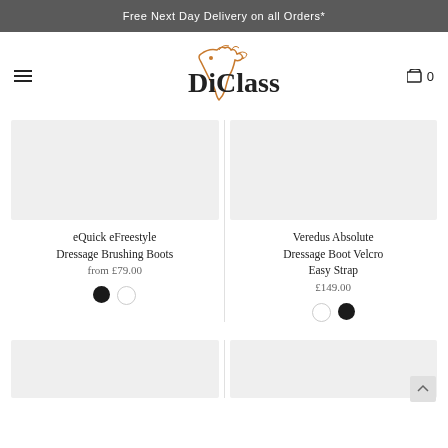Free Next Day Delivery on all Orders*
[Figure (logo): DiClass equestrian brand logo with horse silhouette in orange and DiClass text]
eQuick eFreestyle Dressage Brushing Boots
from £79.00
Veredus Absolute Dressage Boot Velcro Easy Strap
£149.00